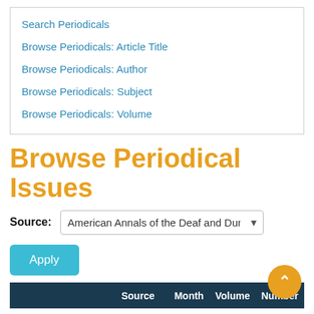Search Periodicals
Browse Periodicals: Article Title
Browse Periodicals: Author
Browse Periodicals: Subject
Browse Periodicals: Volume
Browse Periodical Issues
Source: American Annals of the Deaf and Dumb
Apply
|  | Source | Month | Volume | Number |
| --- | --- | --- | --- | --- |
| St. Ann's Church | American Annals of |  |  |  |